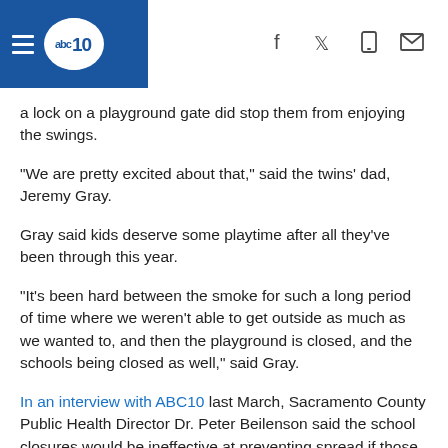abc10 [navigation header with social icons]
a lock on a playground gate did stop them from enjoying the swings.
"We are pretty excited about that," said the twins' dad, Jeremy Gray.
Gray said kids deserve some playtime after all they've been through this year.
“It’s been hard between the smoke for such a long period of time where we weren’t able to get outside as much as we wanted to, and then the playground is closed, and the schools being closed as well,” said Gray.
In an interview with ABC10 last March, Sacramento County Public Health Director Dr. Peter Beilenson said the school closures would be ineffective at preventing spread if those same children were all able to still gather with friends and community parks.